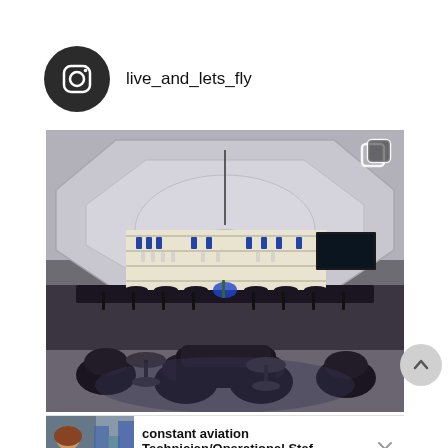[Figure (logo): Instagram camera icon logo in dark circle (avatar placeholder)]
live_and_lets_fly
[Figure (photo): Interior photo of an upscale bar/lounge with coffered ceiling, circular pendant light, long bar counter with blue accents, bar stools, and dark armchairs with round tables in the foreground]
constant aviation Technician/Operational Staf...
jobble.com
Sponsored